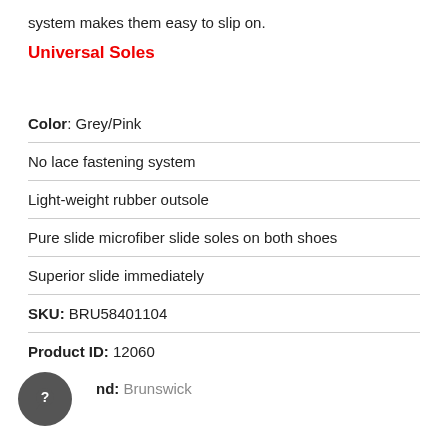system makes them easy to slip on.
Universal Soles
Color: Grey/Pink
No lace fastening system
Light-weight rubber outsole
Pure slide microfiber slide soles on both shoes
Superior slide immediately
SKU: BRU58401104
Product ID: 12060
Brand: Brunswick